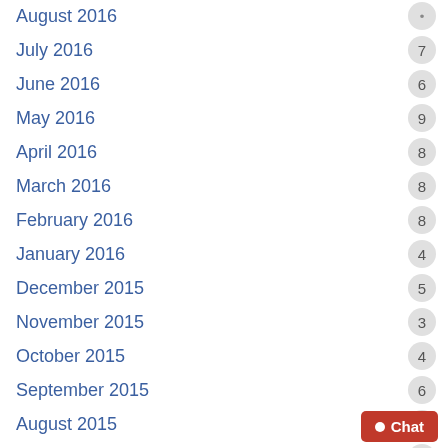August 2016 — (truncated at top)
July 2016
June 2016
May 2016
April 2016
March 2016
February 2016
January 2016
December 2015
November 2015
October 2015
September 2015
August 2015
July 2015
June 2015
May 2015
April 2015
March 2015
February 2015
January 2015